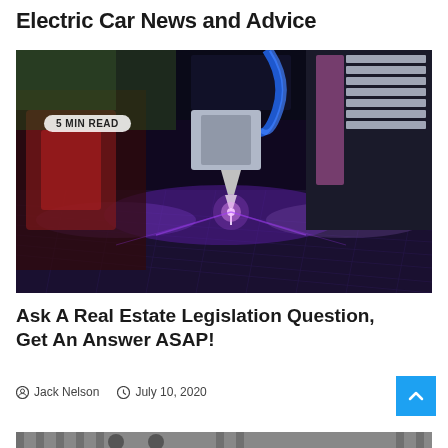Electric Car News and Advice
[Figure (photo): A CNC laser cutting machine with bright blue-purple laser beam illuminating a dark metal surface, with a red machine visible in the blurred background.]
Electric Car News and Advice
Ask A Real Estate Legislation Question, Get An Answer ASAP!
Jack Nelson   July 10, 2020
[Figure (photo): Partial bottom image, appears to be a mechanical or industrial scene, cropped.]